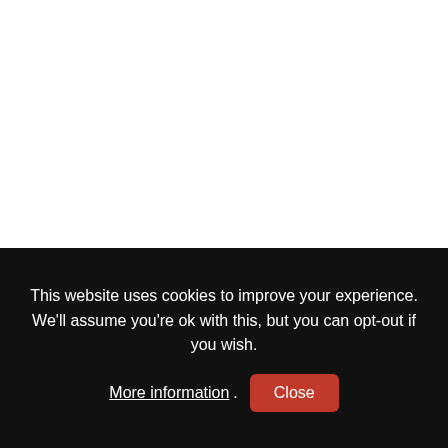$$$
Crow's nest viewpoint
This website uses cookies to improve your experience. We'll assume you're ok with this, but you can opt-out if you wish. More information. Close